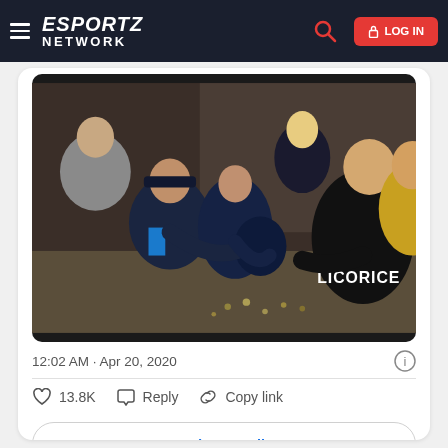ESPORTZ NETWORK — LOG IN
[Figure (photo): A group of esports players and staff celebrating in a locker room. One player in a Cloud9 (C9) jersey with 'LICORICE' on the back is visible prominently. Others wear black team jackets. A blonde player is visible smiling in the center-background. The mood is celebratory.]
12:02 AM · Apr 20, 2020
13.8K   Reply   Copy link
Read 213 replies